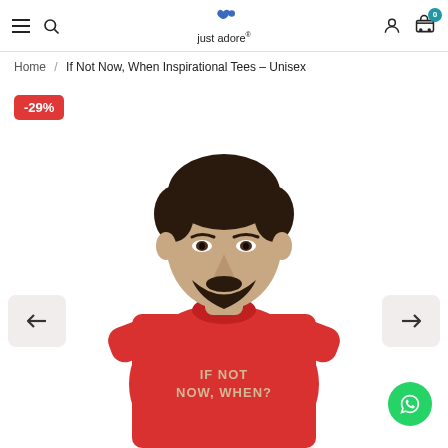just adore® [hamburger menu, search, account, cart(0)]
Home / If Not Now, When Inspirational Tees – Unisex
[Figure (photo): A man wearing a red t-shirt with text 'IF NOT NOW, WHEN?' printed on it. The photo shows the man from approximately waist up against a white background. A red discount badge showing -29% is in the top-left corner.]
-29%